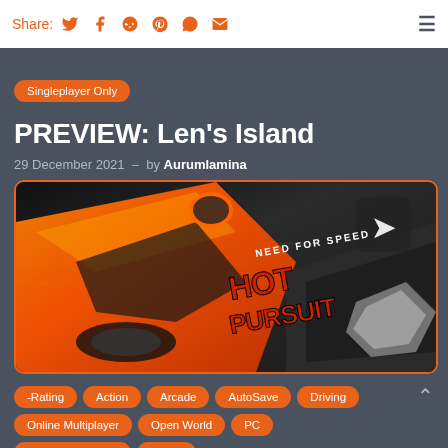Share: [twitter] [facebook] [reddit] [pinterest] [whatsapp] [email]
[tag partial] [tag partial] [tag partial] [tag partial]
Singleplayer Only
PREVIEW: Len's Island
29 December 2021  –  by Aurumlamina
[Figure (photo): Need for Speed Hot Pursuit game cover art showing orange racing car at speed with Hot Pursuit logo text]
-Rating  Action  Arcade  AutoSave  Driving
Online Multiplayer  Open World  PC
Single/Multiplayer  Sports